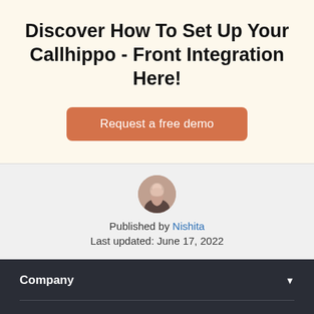Discover How To Set Up Your Callhippo - Front Integration Here!
Request a free demo
[Figure (photo): Circular portrait photo of Nishita, a person smiling]
Published by Nishita
Last updated: June 17, 2022
Company
Features